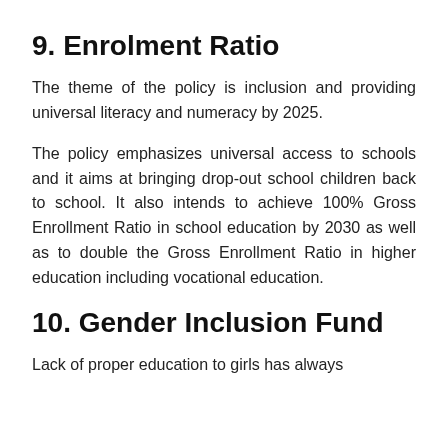9. Enrolment Ratio
The theme of the policy is inclusion and providing universal literacy and numeracy by 2025.
The policy emphasizes universal access to schools and it aims at bringing drop-out school children back to school. It also intends to achieve 100% Gross Enrollment Ratio in school education by 2030 as well as to double the Gross Enrollment Ratio in higher education including vocational education.
10. Gender Inclusion Fund
Lack of proper education to girls has always